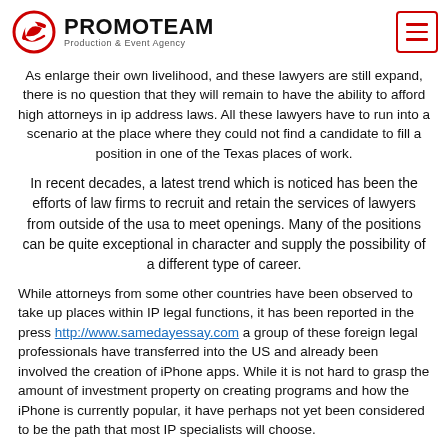PROMOTEAM Production & Event Agency
As enlarge their own livelihood, and these lawyers are still expand, there is no question that they will remain to have the ability to afford high attorneys in ip address laws. All these lawyers have to run into a scenario at the place where they could not find a candidate to fill a position in one of the Texas places of work.
In recent decades, a latest trend which is noticed has been the efforts of law firms to recruit and retain the services of lawyers from outside of the usa to meet openings. Many of the positions can be quite exceptional in character and supply the possibility of a different type of career.
While attorneys from some other countries have been observed to take up places within IP legal functions, it has been reported in the press http://www.samedayessay.com a group of these foreign legal professionals have transferred into the US and already been involved the creation of iPhone apps. While it is not hard to grasp the amount of investment property on creating programs and how the iPhone is currently popular, it have perhaps not yet been considered to be the path that most IP specialists will choose.